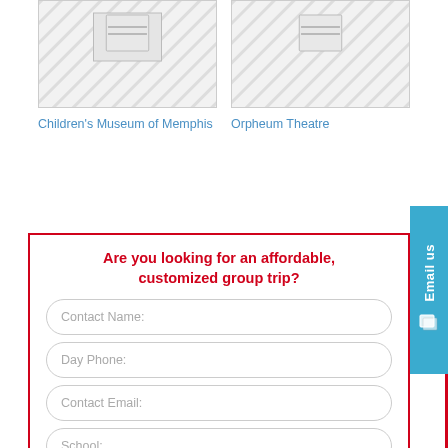[Figure (illustration): Placeholder image card for Children's Museum of Memphis with diagonal striped background]
Children's Museum of Memphis
[Figure (illustration): Placeholder image card for Orpheum Theatre with diagonal striped background]
Orpheum Theatre
Are you looking for an affordable, customized group trip?
Contact Name:
Day Phone:
Contact Email:
School:
Email us